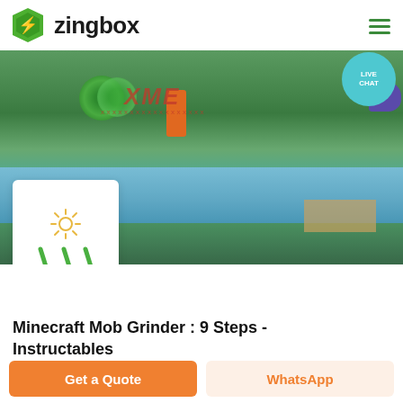zingbox
[Figure (photo): Industrial machine (blue conveyor/grinder) in a factory setting with green flooring; XME watermark text visible; green fan and orange component on machine]
[Figure (illustration): White card icon showing a sun/light icon and three green diagonal lines representing lightning/energy bolts]
Minecraft Mob Grinder : 9 Steps - Instructables
Get a Quote
WhatsApp